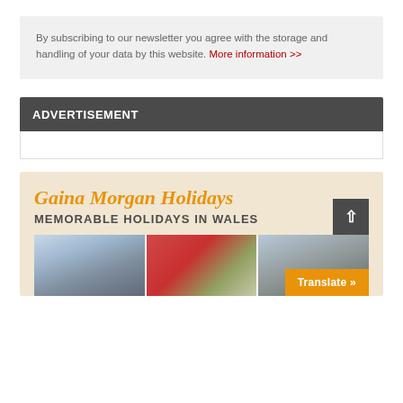By subscribing to our newsletter you agree with the storage and handling of your data by this website. More information >>
ADVERTISEMENT
[Figure (illustration): Gaina Morgan Holidays advertisement banner with orange serif italic title 'Gaina Morgan Holidays', subtitle 'MEMORABLE HOLIDAYS IN WALES' in bold dark text, and three holiday property photos below on a beige background.]